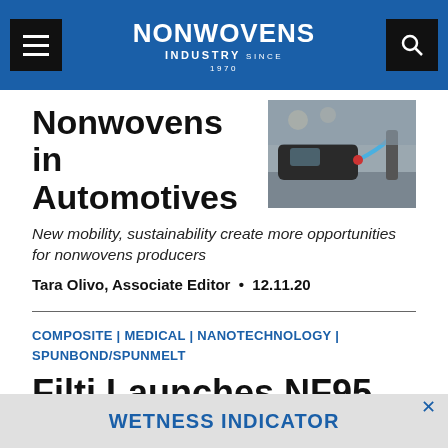NONWOVENS INDUSTRY
[Figure (photo): A car being charged at an electric vehicle charging station, with a blue charging cable plugged in.]
Nonwovens in Automotives
New mobility, sustainability create more opportunities for nonwovens producers
Tara Olivo, Associate Editor • 12.11.20
COMPOSITE | MEDICAL | NANOTECHNOLOGY | SPUNBOND/SPUNMELT
Filti Launches NF95
WETNESS INDICATOR